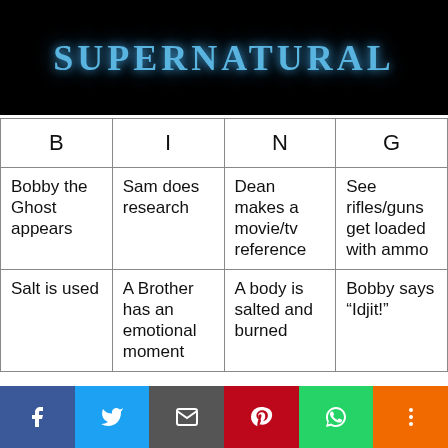[Figure (screenshot): Supernatural TV show logo in white/blue text on black background]
| B | I | N | G |
| --- | --- | --- | --- |
| Bobby the Ghost appears | Sam does research | Dean makes a movie/tv reference | See rifles/guns get loaded with ammo |
| Salt is used | A Brother has an emotional moment | A body is salted and burned | Bobby says “Idjit!” |
[Figure (infographic): Social media sharing bar with Facebook, Twitter, email, Pinterest, WhatsApp, and more buttons]